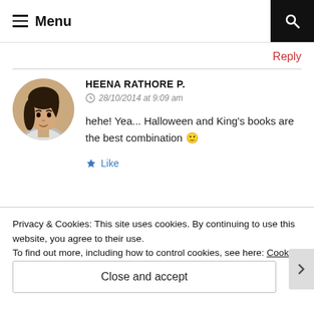Menu
Reply
HEENA RATHORE P.
28/10/2014 at 9:09 am
hehe! Yea... Halloween and King's books are the best combination 🙂
★ Like
Privacy & Cookies: This site uses cookies. By continuing to use this website, you agree to their use.
To find out more, including how to control cookies, see here: Cookie Policy
Close and accept